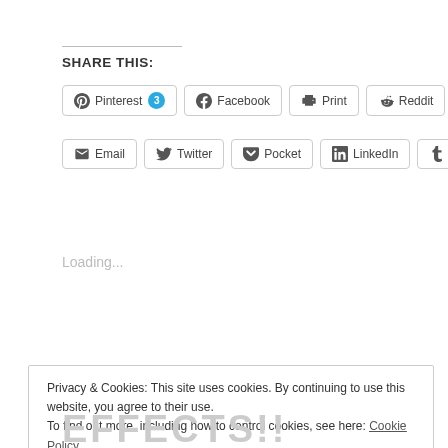SHARE THIS:
[Figure (screenshot): Social sharing buttons row 1: Pinterest (3), Facebook, Print, Reddit]
[Figure (screenshot): Social sharing buttons row 2: Email, Twitter, Pocket, LinkedIn, Tumblr]
Loading...
Privacy & Cookies: This site uses cookies. By continuing to use this website, you agree to their use.
To find out more, including how to control cookies, see here: Cookie Policy
Close and accept
EFFECTS!!